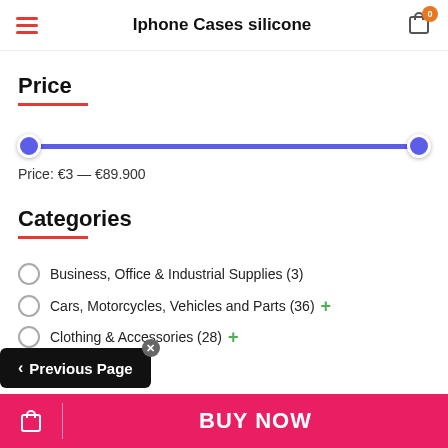Iphone Cases silicone
Price
[Figure (other): Price range slider from €3 to €89.900 with two purple circular handles on a purple track]
Price: €3 — €89.900
Categories
Business, Office & Industrial Supplies (3)
Cars, Motorcycles, Vehicles and Parts (36) +
Clothing & Accessories (28) +
Show more
BUY NOW